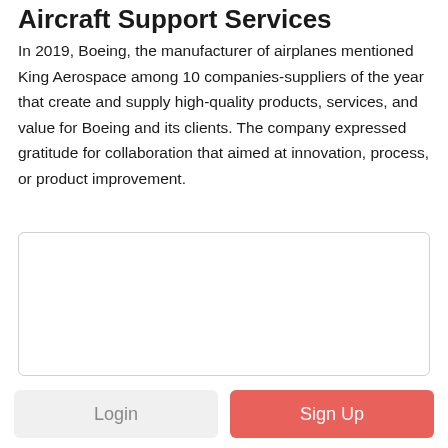Aircraft Support Services
In 2019, Boeing, the manufacturer of airplanes mentioned King Aerospace among 10 companies-suppliers of the year that create and supply high-quality products, services, and value for Boeing and its clients. The company expressed gratitude for collaboration that aimed at innovation, process, or product improvement.
[Figure (other): Empty white content box with light gray border, used as a display or image area]
Login
Sign Up